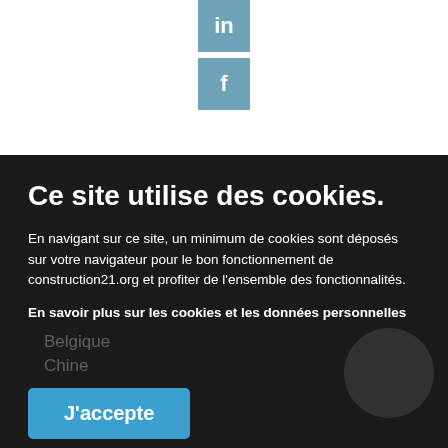[Figure (screenshot): LinkedIn icon (blue-grey square with 'in' text) and Facebook icon (blue-grey square with 'f' text) centered in white header area]
Ce site utilise des cookies.
En navigant sur ce site, un minimum de cookies sont déposés sur votre navigateur pour le bon fonctionnement de construction21.org et profiter de l'ensemble des fonctionnalités.
En savoir plus sur les cookies et les données personnelles
Belgique
Chine
J'accepte
France
Afficher les utilisations
International